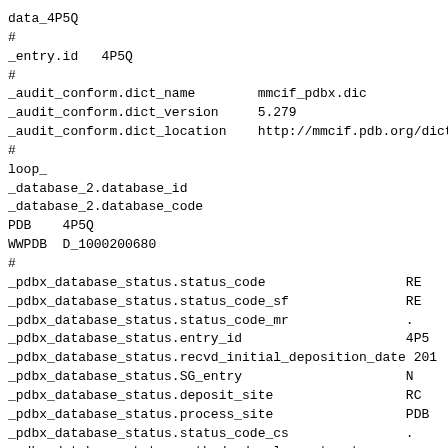data_4P5Q
#
_entry.id   4P5Q
#
_audit_conform.dict_name        mmcif_pdbx.dic
_audit_conform.dict_version     5.279
_audit_conform.dict_location    http://mmcif.pdb.org/dict:
#
loop_
_database_2.database_id
_database_2.database_code
PDB    4P5Q
WWPDB  D_1000200680
#
_pdbx_database_status.status_code                  RE
_pdbx_database_status.status_code_sf               RE
_pdbx_database_status.status_code_mr               .
_pdbx_database_status.entry_id                     4P5
_pdbx_database_status.recvd_initial_deposition_date 201
_pdbx_database_status.SG_entry                     N
_pdbx_database_status.deposit_site                 RC
_pdbx_database_status.process_site                 PDB
_pdbx_database_status.status_code_cs               .
_pdbx_database_status.methods_development_category .
_pdbx_database_status.pdb_format_compatible        Y
#
loop_
_audit_author.name
_audit_author.pdbx_ordinal
!Penn_1_box_1